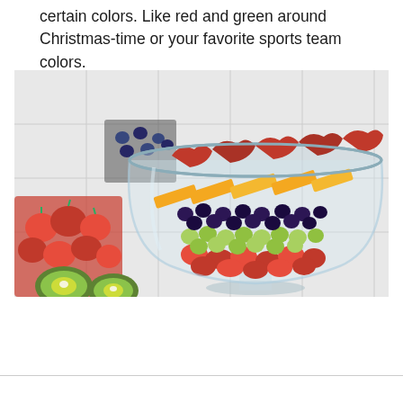certain colors. Like red and green around Christmas-time or your favorite sports team colors.
[Figure (photo): A layered fruit salad in a large clear glass trifle bowl on a pedestal. The bowl contains visible layers of strawberries at the bottom, green grapes, dark blackberries, diagonal slices of yellow mango or melon, and red plum or apple slices at the top. In the background are containers of strawberries and blueberries. In the foreground are kiwi fruits.]